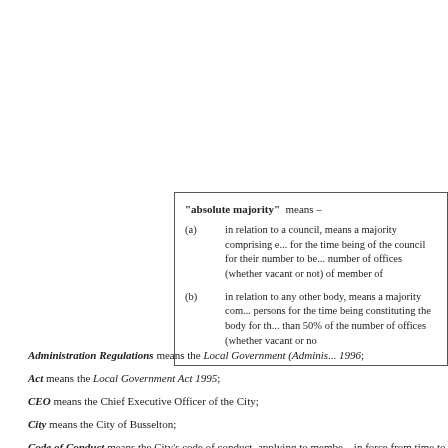"absolute majority" means – (a) in relation to a council, means a majority comprising e... for the time being of the council for their number to be... number of offices (whether vacant or not) of member of... (b) in relation to any other body, means a majority com... persons for the time being constituting the body for th... than 50% of the number of offices (whether vacant or no...
Administration Regulations means the Local Government (Adminis... 1996;
Act means the Local Government Act 1995;
CEO means the Chief Executive Officer of the City;
City means the City of Busselton;
Code of Conduct means the City's code of conduct, applying to membe... in force from time to time;